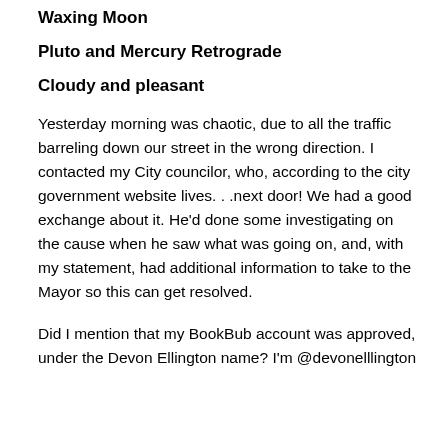Waxing Moon
Pluto and Mercury Retrograde
Cloudy and pleasant
Yesterday morning was chaotic, due to all the traffic barreling down our street in the wrong direction. I contacted my City councilor, who, according to the city government website lives. . .next door! We had a good exchange about it. He'd done some investigating on the cause when he saw what was going on, and, with my statement, had additional information to take to the Mayor so this can get resolved.
Did I mention that my BookBub account was approved, under the Devon Ellington name? I'm @devonelllington